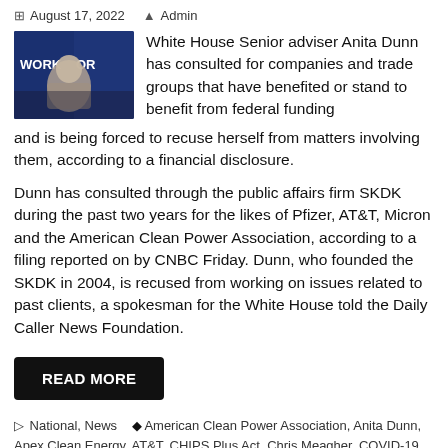August 17, 2022   Admin
[Figure (photo): Photo of Anita Dunn at a campaign rally with 'WORKS FOR' banner visible]
White House Senior adviser Anita Dunn has consulted for companies and trade groups that have benefited or stand to benefit from federal funding and is being forced to recuse herself from matters involving them, according to a financial disclosure.
Dunn has consulted through the public affairs firm SKDK during the past two years for the likes of Pfizer, AT&T, Micron and the American Clean Power Association, according to a filing reported on by CNBC Friday. Dunn, who founded the SKDK in 2004, is recused from working on issues related to past clients, a spokesman for the White House told the Daily Caller News Foundation.
READ MORE
National, News   American Clean Power Association, Anita Dunn, Apex Clean Energy, AT&T, CHIPS Plus Act, Chris Meagher, COVID-19, Dominion